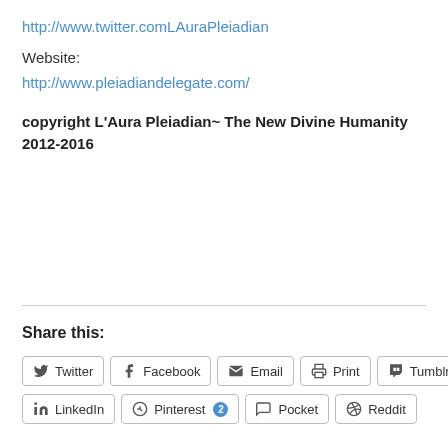http://www.twitter.comLAuraPleiadian
Website:
http://www.pleiadiandelegate.com/
copyright L’Aura Pleiadian~ The New Divine Humanity 2012-2016
Share this:
Twitter  Facebook  Email  Print  Tumblr  LinkedIn  Pinterest 2  Pocket  Reddit